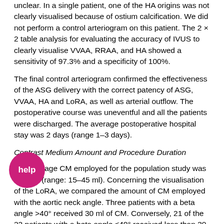unclear. In a single patient, one of the HA origins was not clearly visualised because of ostium calcification. We did not perform a control arteriogram on this patient. The 2 × 2 table analysis for evaluating the accuracy of IVUS to clearly visualise VVAA, RRAA, and HA showed a sensitivity of 97.3% and a specificity of 100%.
The final control arteriogram confirmed the effectiveness of the ASG delivery with the correct patency of ASG, VVAA, HA and LoRA, as well as arterial outflow. The postoperative course was uneventful and all the patients were discharged. The average postoperative hospital stay was 2 days (range 1–3 days).
Contrast Medium Amount and Procedure Duration
The average CM employed for the population study was 19.8 ml (range: 15–45 ml). Concerning the visualisation of the LoRA, we compared the amount of CM employed with the aortic neck angle. Three patients with a beta angle >40° received 30 ml of CM. Conversely, 21 of the 22 patients with a beta angle ≤40° received less than 30 ml of CM. Therefore the amount of CM employed was significantly correlated with the beta angle (p<0.01; Figure